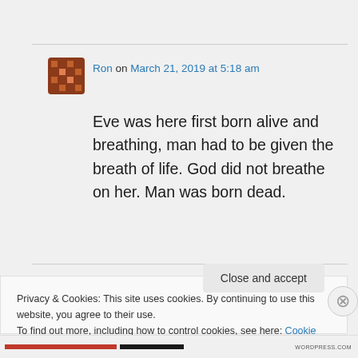Ron on March 21, 2019 at 5:18 am
Eve was here first born alive and breathing, man had to be given the breath of life. God did not breathe on her. Man was born dead.
Privacy & Cookies: This site uses cookies. By continuing to use this website, you agree to their use.
To find out more, including how to control cookies, see here: Cookie Policy
Close and accept